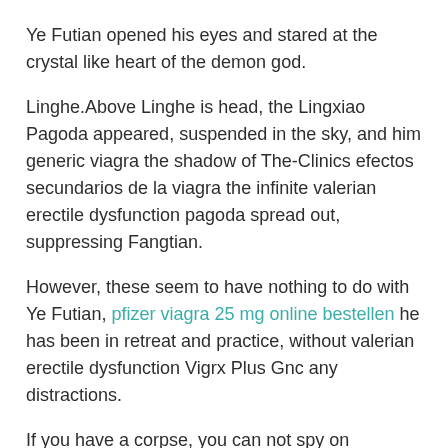Ye Futian opened his eyes and stared at the crystal like heart of the demon god.
Linghe.Above Linghe is head, the Lingxiao Pagoda appeared, suspended in the sky, and him generic viagra the shadow of The-Clinics efectos secundarios de la viagra the infinite valerian erectile dysfunction pagoda spread out, suppressing Fangtian.
However, these seem to have nothing to do with Ye Futian, pfizer viagra 25 mg online bestellen he has been in retreat and practice, without valerian erectile dysfunction Vigrx Plus Gnc any distractions.
If you have a corpse, you can not spy on them.These peak figures who dominate the Shangqing Domain will be backlashed at a glance, and they will even be injured if they look at them a few more times.